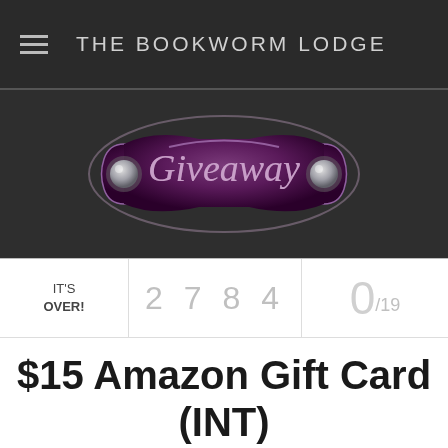THE BOOKWORM LODGE
[Figure (illustration): Decorative badge/plaque with purple gradient background and silver rivets, containing the word 'Giveaway' in cursive script]
IT'S OVER!
2 7 8 4
0/19
$15 Amazon Gift Card (INT)